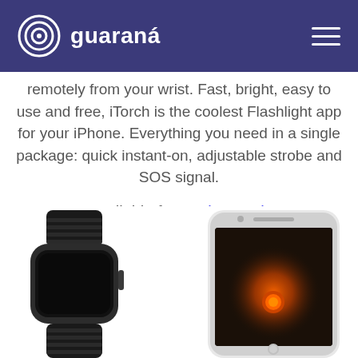guaraná
remotely from your wrist. Fast, bright, easy to use and free, iTorch is the coolest Flashlight app for your iPhone. Everything you need in a single package: quick instant-on, adjustable strobe and SOS signal.
Available for Apple Watch
[Figure (photo): Apple Watch (dark, sport band) and iPhone showing iTorch app interface with glowing orange element on black background.]